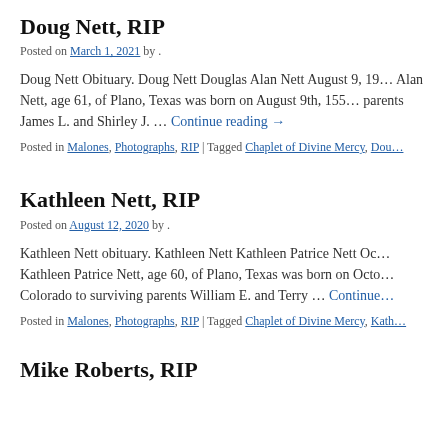Doug Nett, RIP
Posted on March 1, 2021 by .
Doug Nett Obituary. Doug Nett Douglas Alan Nett August 9, 19... Alan Nett, age 61, of Plano, Texas was born on August 9th, 195... parents James L. and Shirley J. … Continue reading →
Posted in Malones, Photographs, RIP | Tagged Chaplet of Divine Mercy, Dou...
Kathleen Nett, RIP
Posted on August 12, 2020 by .
Kathleen Nett obituary. Kathleen Nett Kathleen Patrice Nett Oc... Kathleen Patrice Nett, age 60, of Plano, Texas was born on Octo... Colorado to surviving parents William E. and Terry … Continue...
Posted in Malones, Photographs, RIP | Tagged Chaplet of Divine Mercy, Kath...
Mike Roberts, RIP